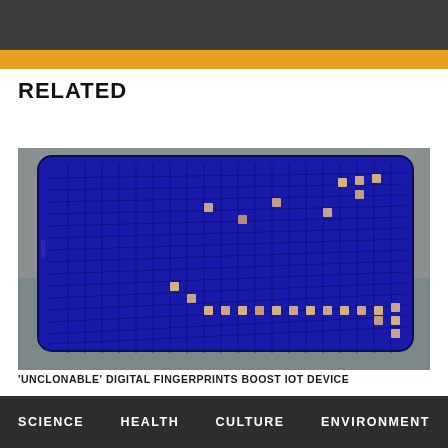RELATED
[Figure (photo): A blue rectangular microplate/microarray device with a grid of small wells, some of which are glowing with a warm light pattern, photographed on a speckled gray surface.]
'UNCLONABLE' DIGITAL FINGERPRINTS BOOST IOT DEVICE
SCIENCE   HEALTH   CULTURE   ENVIRONMENT